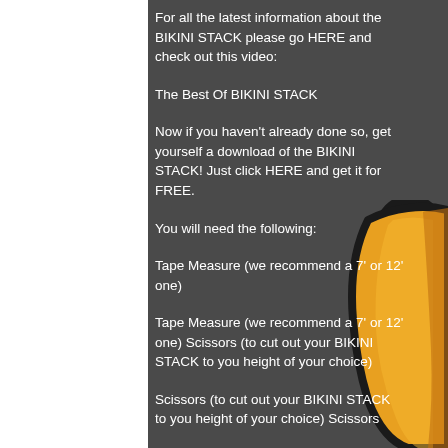For all the latest information about the BIKINI STACK please go HERE and check out this video:
The Best Of BIKINI STACK
Now if you haven't already done so, get yourself a download of the BIKINI STACK! Just click HERE and get it for FREE.
You will need the following:
Tape Measure (we recommend a 7' or 12' one)
Tape Measure (we recommend a 7' or 12' one) Scissors (to cut out your BIKINI STACK to you height of your choice)
Scissors (to cut out your BIKINI STACK to you height of your choice) Scissors
[Figure (illustration): Cartoon illustration of a golden/yellow tape measure with black outline, shown partially cropped on the right side of the page]